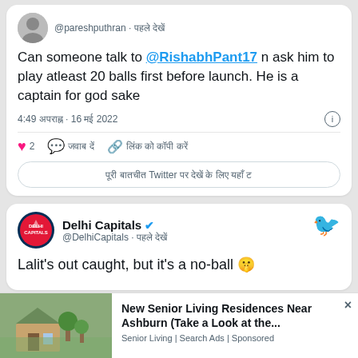@pareshputhran · [Hindi text]
Can someone talk to @RishabhPant17 n ask him to play atleast 20 balls first before launch. He is a captain for god sake
4:49 [Hindi] · 16 [Hindi] 2022
2  [Hindi text]  [Hindi text]
[Hindi] Twitter [Hindi]
Delhi Capitals @DelhiCapitals · [Hindi text]
Lalit's out caught, but it's a no-ball 🤫
New Senior Living Residences Near Ashburn (Take a Look at the... Senior Living | Search Ads | Sponsored